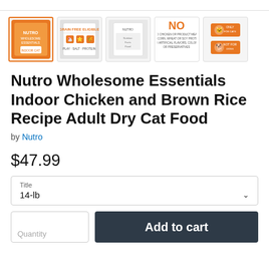[Figure (photo): Five product thumbnail images of Nutro Wholesome Essentials Indoor Chicken and Brown Rice Recipe Adult Dry Cat Food. The first thumbnail is selected (highlighted with an orange border) showing the front of the orange cat food bag. The second shows the nutrition label. The third shows the back of the bag. The fourth shows a 'NO' graphic listing no corn, wheat, soy, artificial flavors, colors or preservatives. The fifth shows two orange icons with circular dog/cat symbols.]
Nutro Wholesome Essentials Indoor Chicken and Brown Rice Recipe Adult Dry Cat Food
by Nutro
$47.99
Title
14-lb
Add to cart
Quantity